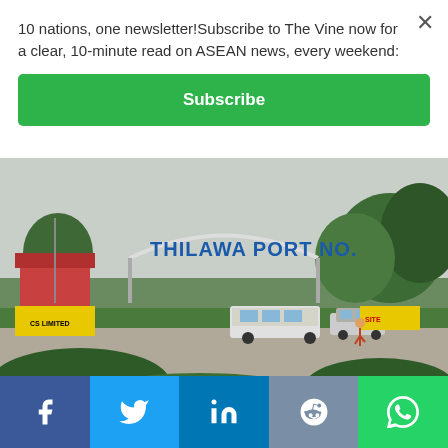10 nations, one newsletter!Subscribe to The Vine now for a clear, 10-minute read on ASEAN news, every weekend:
Subscribe
[Figure (photo): Entrance arch to Thilawa Port No. with blue lettering, vehicles and greenery visible in the foreground, overcast sky]
Social share bar with Facebook, Twitter, LinkedIn, Reddit, WhatsApp buttons